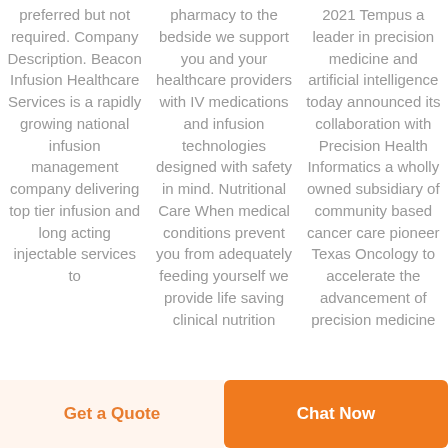preferred but not required. Company Description. Beacon Infusion Healthcare Services is a rapidly growing national infusion management company delivering top tier infusion and long acting injectable services to
pharmacy to the bedside we support you and your healthcare providers with IV medications and infusion technologies designed with safety in mind. Nutritional Care When medical conditions prevent you from adequately feeding yourself we provide life saving clinical nutrition
2021 Tempus a leader in precision medicine and artificial intelligence today announced its collaboration with Precision Health Informatics a wholly owned subsidiary of community based cancer care pioneer Texas Oncology to accelerate the advancement of precision medicine
Get a Quote
Chat Now